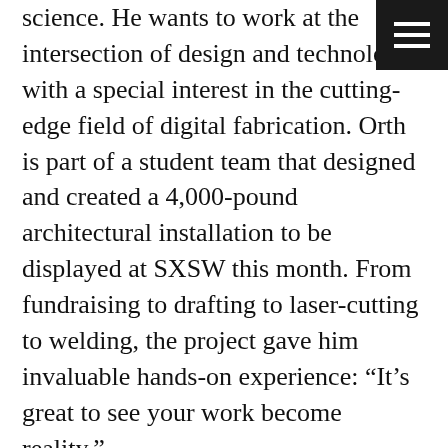science. He wants to work at the intersection of design and technology, with a special interest in the cutting-edge field of digital fabrication. Orth is part of a student team that designed and created a 4,000-pound architectural installation to be displayed at SXSW this month. From fundraising to drafting to laser-cutting to welding, the project gave him invaluable hands-on experience: “It’s great to see your work become reality.”
Architecture students have a reputation for working long hours alone in the studio. Orth has pushed back against that by serving as a mentor with TEDx Youth Austin and revitalizing the Undergraduate Architecture Student Council. He started a series called Snacks With the Dean to encourage students,